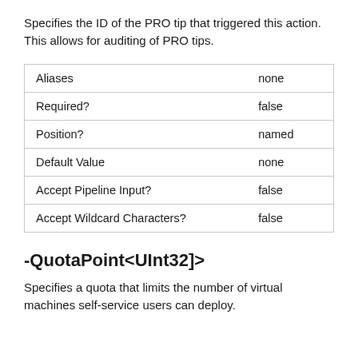Specifies the ID of the PRO tip that triggered this action. This allows for auditing of PRO tips.
| Aliases | none |
| Required? | false |
| Position? | named |
| Default Value | none |
| Accept Pipeline Input? | false |
| Accept Wildcard Characters? | false |
-QuotaPoint<UInt32]>
Specifies a quota that limits the number of virtual machines self-service users can deploy.